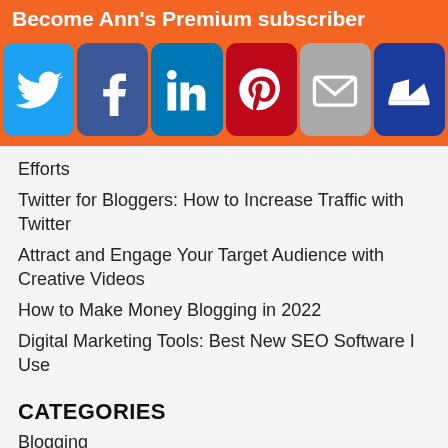Become Ann's Premium subscriber
[Figure (other): Social media share buttons: Twitter, Facebook, LinkedIn, Pinterest, Email, Crown/Premium]
Efforts
Twitter for Bloggers: How to Increase Traffic with Twitter
Attract and Engage Your Target Audience with Creative Videos
How to Make Money Blogging in 2022
Digital Marketing Tools: Best New SEO Software I Use
CATEGORIES
Blogging